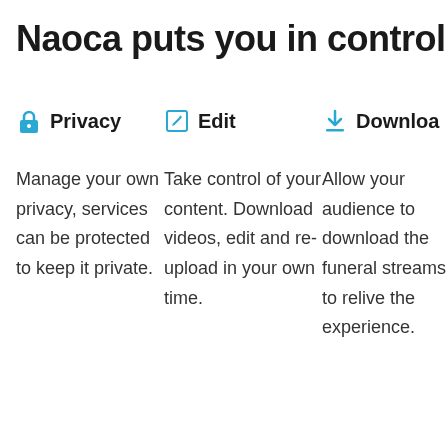Naoca puts you in control
Privacy
Edit
Download
Manage your own privacy, services can be protected to keep it private.
Take control of your content. Download videos, edit and re-upload in your own time.
Allow your audience to download the funeral streams to relive the experience.